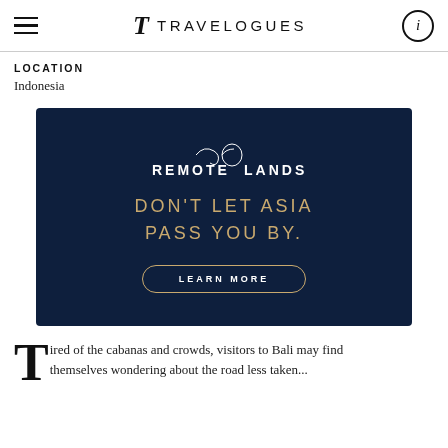TRAVELOGUES
LOCATION
Indonesia
[Figure (infographic): Remote Lands advertisement banner with dark navy background. Shows 'REMOTE LANDS' logo with decorative flourish, tagline 'DON'T LET ASIA PASS YOU BY.' in gold/tan letters, and a 'LEARN MORE' button with rounded border.]
Tired of the cabanas and crowds, visitors to Bali may find themselves wondering about the road less taken...